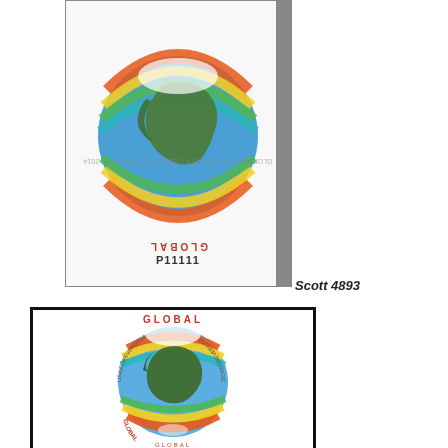[Figure (photo): USA Global Forever stamp (2014) shown inverted/upside-down with circular text reading USA FOREVER 2014 GLOBAL around a globe showing North America with colorful atmospheric wave patterns. Below the stamp image is the plate number P11111.]
Scott 4893
[Figure (photo): USA Global Forever stamp (2014) shown right-side up inside a black-bordered frame. Circular text reads GLOBAL USA FOREVER 2014 around a globe showing North America with colorful atmospheric/ocean wave patterns in green, yellow, orange, red.]